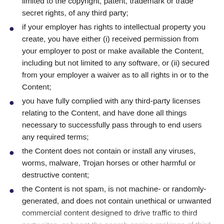limited to the copyright, patent, trademark or trade secret rights, of any third party;
if your employer has rights to intellectual property you create, you have either (i) received permission from your employer to post or make available the Content, including but not limited to any software, or (ii) secured from your employer a waiver as to all rights in or to the Content;
you have fully complied with any third-party licenses relating to the Content, and have done all things necessary to successfully pass through to end users any required terms;
the Content does not contain or install any viruses, worms, malware, Trojan horses or other harmful or destructive content;
the Content is not spam, is not machine- or randomly-generated, and does not contain unethical or unwanted commercial content designed to drive traffic to third party sites, or boost the search engine rankings of third